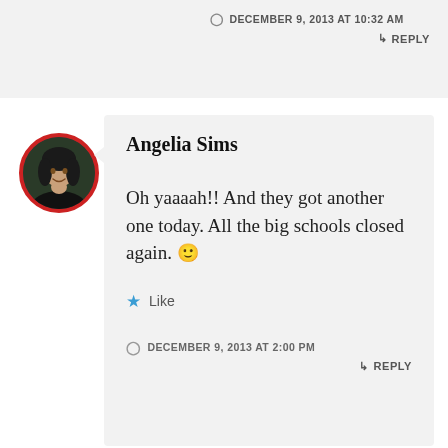DECEMBER 9, 2013 AT 10:32 AM
↳ REPLY
[Figure (photo): Circular avatar photo of Angelia Sims — a woman with dark hair, wearing a dark top, with a red circular border around the photo]
Angelia Sims
Oh yaaaah!! And they got another one today. All the big schools closed again. 🙂
★ Like
DECEMBER 9, 2013 AT 2:00 PM
↳ REPLY